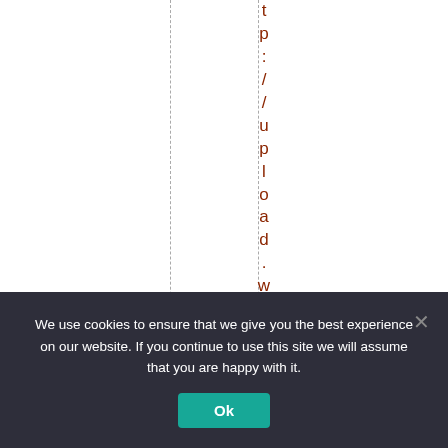t p : / / u p l o a d . w i k i m e d
We use cookies to ensure that we give you the best experience on our website. If you continue to use this site we will assume that you are happy with it. Ok